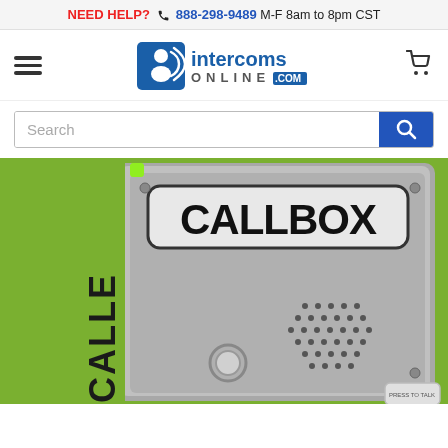NEED HELP? 888-298-9489 M-F 8am to 8pm CST
[Figure (logo): Intercoms Online .com logo with signal icon]
Search
[Figure (photo): Close-up photo of a CALLBOX intercom unit with green trim, gray metal body, speaker grille, and push-to-talk controls]